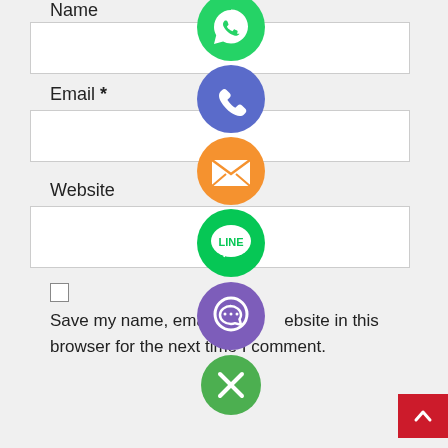[Figure (screenshot): A web form with Name (partial), Email *, and Website fields with input boxes. A checkbox and save text at bottom. Social media icons (WhatsApp green, phone/Viber blue-purple, email orange, LINE green, Viber purple, close green X) overlaid in a vertical column on the right side. A red scroll-to-top button in the bottom right corner.]
Name
Email *
Website
Save my name, email, and website in this browser for the next time I comment.